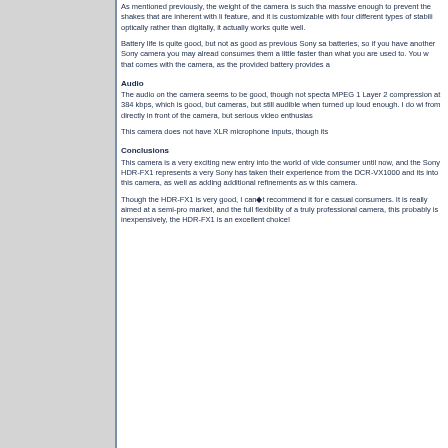As mentioned previously, the weight of the camera is such that massive enough to prevent the shakes that are inherent with li feature, and it is customizable with four different types of stabi optically rather than digitally, it actually works quite well.
Battery life is quite good, but not as good as previous Sony sa batteries, so if you have another Sony camera you may alread consumes them a little faster than what you are used to. You w that comes with the camera, as the provided battery provides a
Audio
The audio on the camera seems to be good, though not specta MPEG 1 Layer 2 compression at 384 kbps, which is good, but cameras, but still audible when turned up loud enough. I do wi from directly in front of the camera, but serious video enthusias
This camera does not have XLR microphone inputs, though its
Conclusions
This camera is a very exciting new entry into the world of vide consumer until now, and the Sony HDR-FX1 represents a very Sony has taken their experience from the DCR-VX1000 and its into this camera, as well as adding additional refinements as w this camera.
Though the HDR-FX1 is very good, I can◆t recommend it for e casual consumers. It is really aimed at a semi-pro market, and the full flexibility of a truly professional camera, this probably is inexpensively, the HDR-FX1 is an excellent choice!